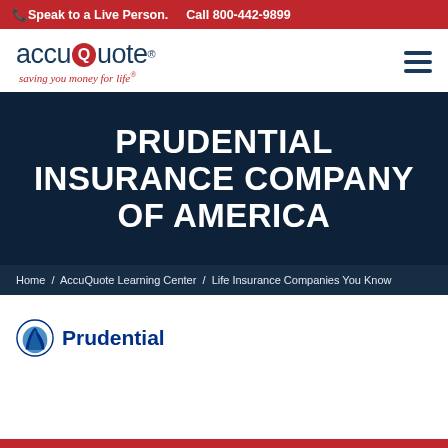📞 Speak to a Live Person.   Call 800-442-9899
[Figure (logo): AccuQuote logo with tagline 'saving you money for life']
PRUDENTIAL INSURANCE COMPANY OF AMERICA
Home / AccuQuote Learning Center / Life Insurance Companies You Know
[Figure (logo): Prudential logo with rock of Gibraltar icon and 'Prudential' text in blue]